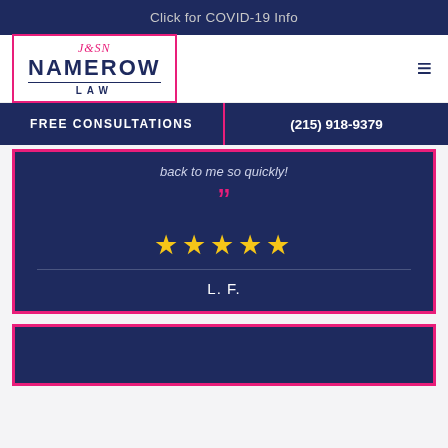Click for COVID-19 Info
[Figure (logo): Namerow Law logo with pink border, signature, and navy text]
FREE CONSULTATIONS
(215) 918-9379
back to me so quickly!
”” (closing quotation marks)
★★★★★
L. F.